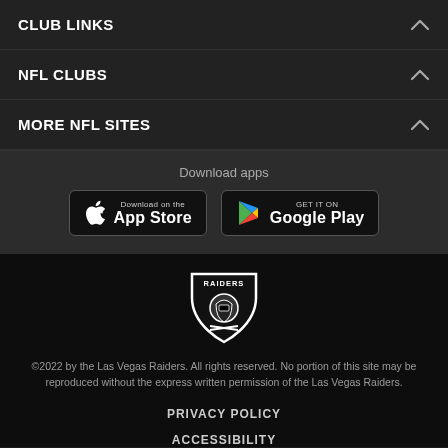CLUB LINKS
NFL CLUBS
MORE NFL SITES
Download apps
[Figure (logo): Download on the App Store button]
[Figure (logo): Get it on Google Play button]
[Figure (logo): Las Vegas Raiders shield logo with crossed swords and pirate helmet]
©2022 by the Las Vegas Raiders. All rights reserved. No portion of this site may be reproduced without the express written permission of the Las Vegas Raiders.
PRIVACY POLICY
ACCESSIBILITY